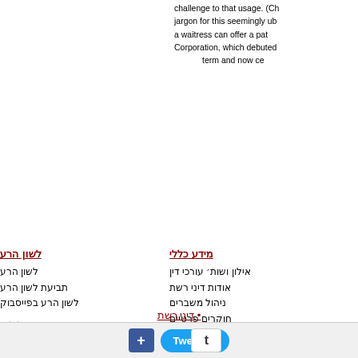challenge to that usage. (Ch jargon for this seemingly ub a waitress can offer a pat Corporation, which debuted term and now ce
לשון הרע
לשון הרע
תביעת לשון הרע
לשון הרע בפייסבוק
פלילים
עבירות מחשב
עבירות אינטרנט
הונאה
פלילים
מידע כללי
אילון ושות׳ עורכי דין
אודות דיני רשת
ניהול משברים
חוקרים פרטיים
מומחים יועצים
עו״ד אביב אילון
יעוץ משפטי